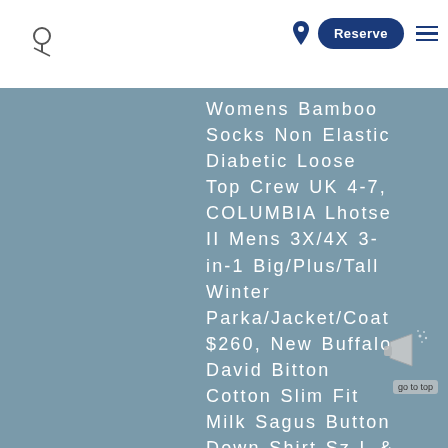Navigation header with logo, phone icon, Reserve button, and hamburger menu
Womens Bamboo Socks Non Elastic Diabetic Loose Top Crew UK 4-7, COLUMBIA Lhotse II Mens 3X/4X 3-in-1 Big/Plus/Tall Winter Parka/Jacket/Coat $260, New Buffalo David Bitton Cotton Slim Fit Milk Sagus Button Down Shirt Sz L &